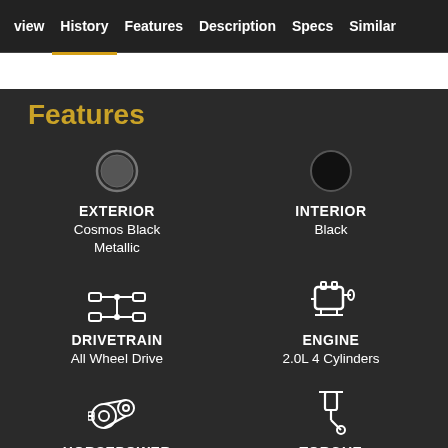view  History  Features  Description  Specs  Similar
Features
EXTERIOR
Cosmos Black Metallic
INTERIOR
Black
DRIVETRAIN
All Wheel Drive
ENGINE
2.0L 4 Cylinders
HORSEPOWER
355 hp @ 6000
TORQUE
332 lb-ft @ 2250